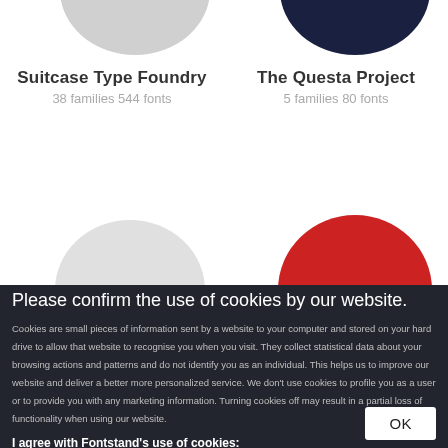Suitcase Type Foundry
38 families 544 fonts
The Questa Project
5 families 80 fonts
Please confirm the use of cookies by our website.
Cookies are small pieces of information sent by a website to your computer and stored on your hard drive to allow that website to recognise you when you visit. They collect statistical data about your browsing actions and patterns and do not identify you as an individual. This helps us to improve our website and deliver a better more personalized service. We don't use cookies to profile you as a user or to provide you with any marketing information. Turning cookies off may result in a partial loss of functionality when using our website.
I agree with Fontstand's use of cookies:
necessary for site functioning
to improve site analytics
to attribute the referral from external links